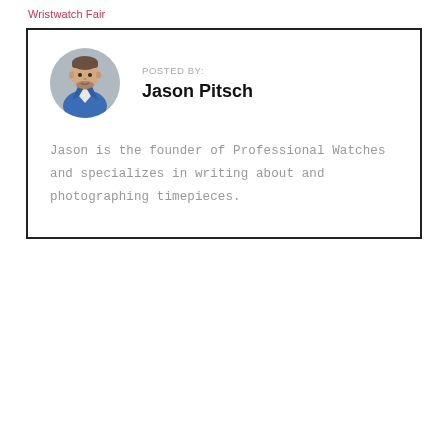Wristwatch Fair
POSTED BY:
Jason Pitsch

Jason is the founder of Professional Watches and specializes in writing about and photographing timepieces.